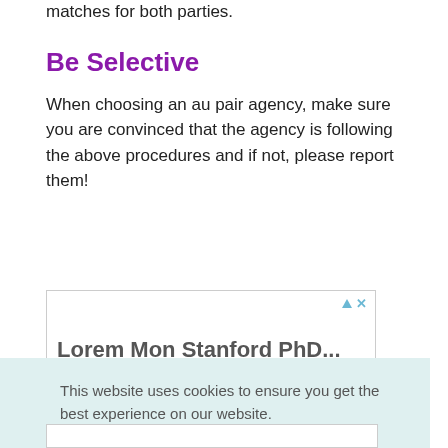matches for both parties.
Be Selective
When choosing an au pair agency, make sure you are convinced that the agency is following the above procedures and if not, please report them!
[Figure (other): Advertisement box with play and close icons and partial text visible]
This website uses cookies to ensure you get the best experience on our website.
Cookie Policy
Got it!